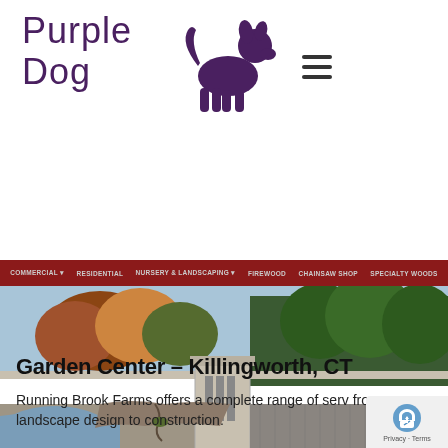[Figure (logo): Purple Dog logo with hand-drawn style text 'Purple Dog' and a purple dog silhouette]
[Figure (screenshot): Website screenshot showing a dark red navigation bar with menu items: COMMERCIAL, RESIDENTIAL, NURSERY & LANDSCAPING, FIREWOOD, CHAINSAW SHOP, SPECIALTY WOODS, followed by a landscape photo of a pond/reservoir with stone structure and autumn trees]
Garden Center – Killingworth, CT
Running Brook Farms offers a complete range of serv from landscape design to construction.